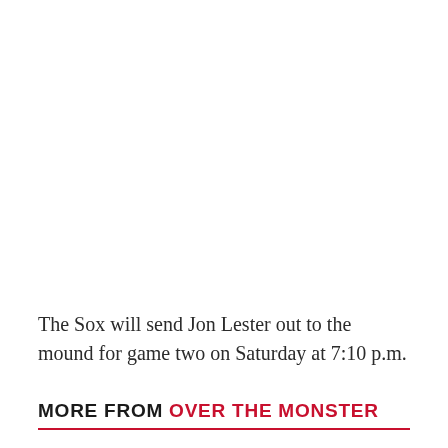The Sox will send Jon Lester out to the mound for game two on Saturday at 7:10 p.m.
MORE FROM OVER THE MONSTER